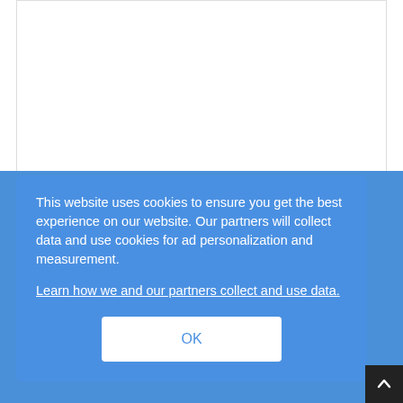[Figure (other): White advertisement placeholder box at top of page]
How To Slow Down Female Facial Hair Via Nutrition
This website uses cookies to ensure you get the best experience on our website. Our partners will collect data and use cookies for ad personalization and measurement. Learn how we and our partners collect and use data.
OK
20 "The Big Bang Theory" Moments Only Adults Fans Know About